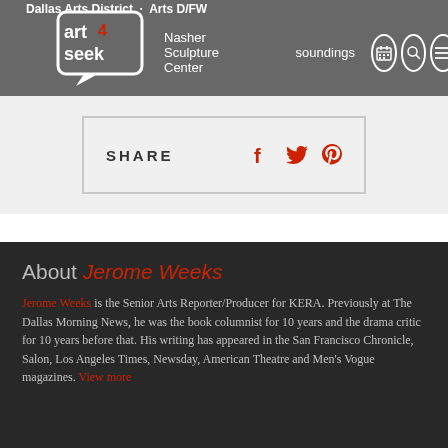Dallas Arts District · Arts D/FW
[Figure (logo): art4seek logo — white speech bubble with 'art seek' text and red '4' accent]
Nasher Sculpture Center   soundings
SHARE [Facebook] [Twitter] [Pinterest]
About Jerome Weeks
Jerome Weeks is the Senior Arts Reporter/Producer for KERA. Previously at The Dallas Morning News, he was the book columnist for 10 years and the drama critic for 10 years before that. His writing has appeared in the San Francisco Chronicle, Salon, Los Angeles Times, Newsday, American Theatre and Men's Vogue magazines. View more